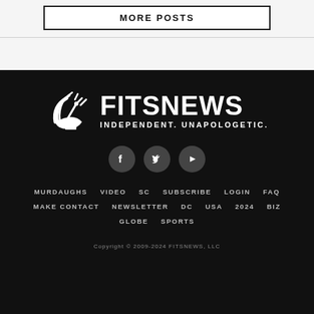MORE POSTS
[Figure (logo): FitsNews logo with satellite dish icon and text FITSNEWS INDEPENDENT. UNAPOLOGETIC.]
[Figure (infographic): Social media icons: Facebook, Twitter, YouTube]
MURDAUGHS
VIDEO
SC
SUBSCRIBE
LOGIN
FAQ
MAKE CONTACT
NEWSLETTER
DC
USA
2024
BIZ
GLOBE
SPORTS
Copyright © 2009-2024 FITSNEWS, LLC